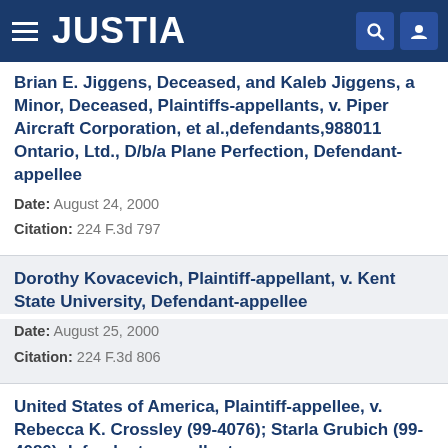JUSTIA
Brian E. Jiggens, Deceased, and Kaleb Jiggens, a Minor, Deceased, Plaintiffs-appellants, v. Piper Aircraft Corporation, et al.,defendants,988011 Ontario, Ltd., D/b/a Plane Perfection, Defendant-appellee
Date: August 24, 2000
Citation: 224 F.3d 797
Dorothy Kovacevich, Plaintiff-appellant, v. Kent State University, Defendant-appellee
Date: August 25, 2000
Citation: 224 F.3d 806
United States of America, Plaintiff-appellee, v. Rebecca K. Crossley (99-4076); Starla Grubich (99-4080) defendants-appellants